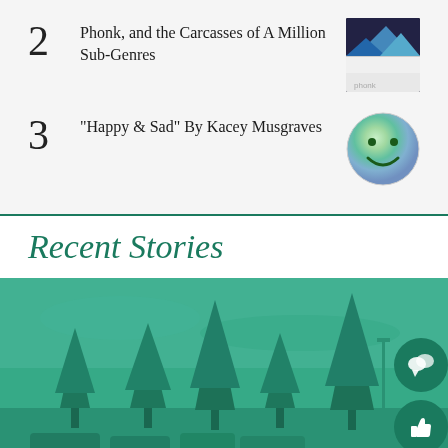2 Phonk, and the Carcasses of A Million Sub-Genres
3 “Happy & Sad” By Kacey Musgraves
Recent Stories
[Figure (photo): Outdoor photo of a parking lot with tall evergreen trees and a teal/green color overlay]